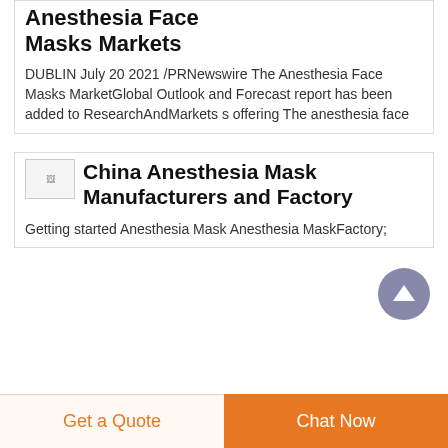Anesthesia Face Masks Markets
DUBLIN July 20 2021 /PRNewswire The Anesthesia Face Masks MarketGlobal Outlook and Forecast report has been added to ResearchAndMarkets s offering The anesthesia face
China Anesthesia Mask Manufacturers and Factory
Getting started Anesthesia Mask Anesthesia MaskFactory;